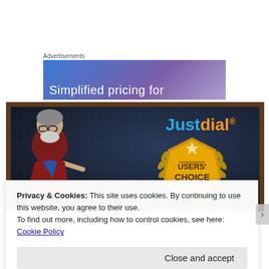Advertisements
[Figure (screenshot): Ad banner with gradient blue-purple background and text 'Simplified pricing for']
[Figure (photo): JustDial advertisement image showing a man in a red blazer pointing at a Users' Choice 2019 award badge, with JustDial logo in blue and orange text on dark background]
Privacy & Cookies: This site uses cookies. By continuing to use this website, you agree to their use.
To find out more, including how to control cookies, see here:
Cookie Policy
Close and accept